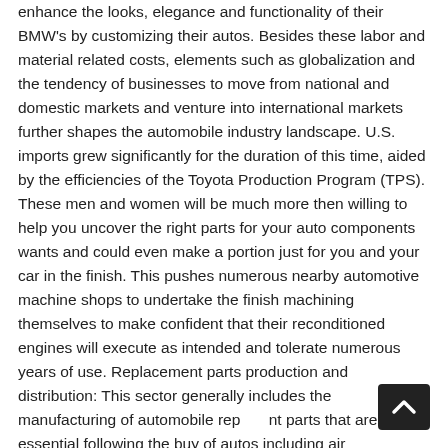enhance the looks, elegance and functionality of their BMW's by customizing their autos. Besides these labor and material related costs, elements such as globalization and the tendency of businesses to move from national and domestic markets and venture into international markets further shapes the automobile industry landscape. U.S. imports grew significantly for the duration of this time, aided by the efficiencies of the Toyota Production Program (TPS). These men and women will be much more then willing to help you uncover the right parts for your auto components wants and could even make a portion just for you and your car in the finish. This pushes numerous nearby automotive machine shops to undertake the finish machining themselves to make confident that their reconditioned engines will execute as intended and tolerate numerous years of use. Replacement parts production and distribution: This sector generally includes the manufacturing of automobile replacement parts that are essential following the buy of autos including air